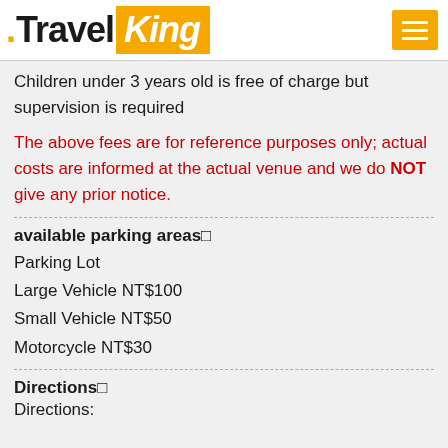.TravelKing
Children under 3 years old is free of charge but supervision is required
The above fees are for reference purposes only; actual costs are informed at the actual venue and we do NOT give any prior notice.
available parking areas
Parking Lot
Large Vehicle NT$100
Small Vehicle NT$50
Motorcycle NT$30
Directions
Directions: